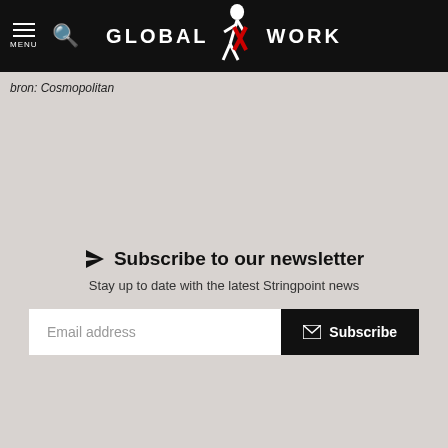GLOBAL WORK (with logo/menu/search)
bron: Cosmopolitan
Subscribe to our newsletter
Stay up to date with the latest Stringpoint news
Email address  Subscribe